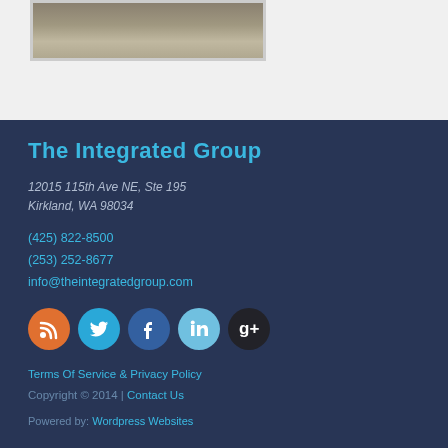[Figure (photo): Partial photo showing people or objects outdoors on a gravel/dirt surface, cropped at top]
The Integrated Group
12015 115th Ave NE, Ste 195
Kirkland, WA 98034
(425) 822-8500
(253) 252-8677
info@theintegratedgroup.com
[Figure (infographic): Row of five social media icon circles: RSS (orange), Twitter (blue), Facebook (dark blue), LinkedIn (light blue), Google+ (dark/black)]
Terms Of Service & Privacy Policy
Copyright © 2014 | Contact Us
Powered by: Wordpress Websites